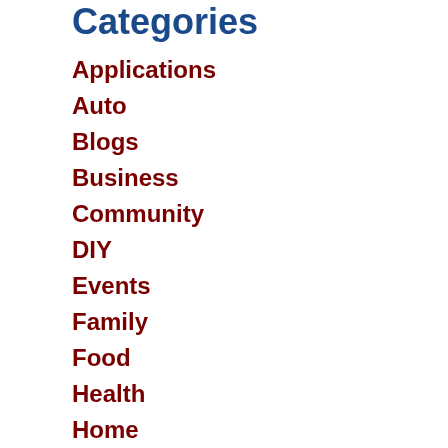Categories
Applications
Auto
Blogs
Business
Community
DIY
Events
Family
Food
Health
Home
Products